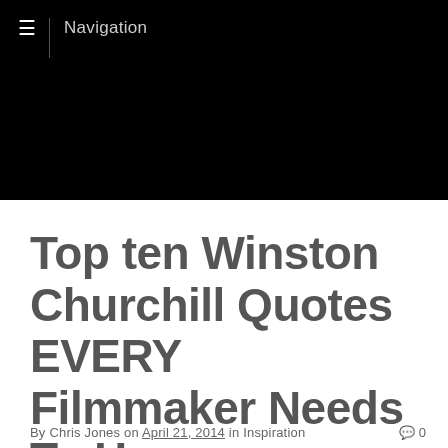≡  Navigation
Top ten Winston Churchill Quotes EVERY Filmmaker Needs To Hear
By Chris Jones on April 21, 2014 in Inspiration  💬 0